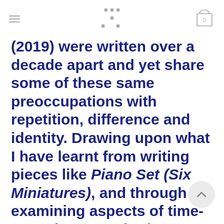≡ [logo dots] [cart 0]
(2019) were written over a decade apart and yet share some of these same preoccupations with repetition, difference and identity. Drawing upon what I have learnt from writing pieces like Piano Set (Six Miniatures), and through examining aspects of time-consciousness both philosophically and psychologically, my work has increasingly focused upon the